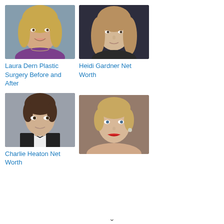[Figure (photo): Photo of Laura Dern, blonde woman smiling]
Laura Dern Plastic Surgery Before and After
[Figure (photo): Photo of Heidi Gardner, blonde woman]
Heidi Gardner Net Worth
[Figure (photo): Photo of Charlie Heaton, young man in tuxedo]
Charlie Heaton Net Worth
[Figure (photo): Photo of a young blonde woman with red lipstick]